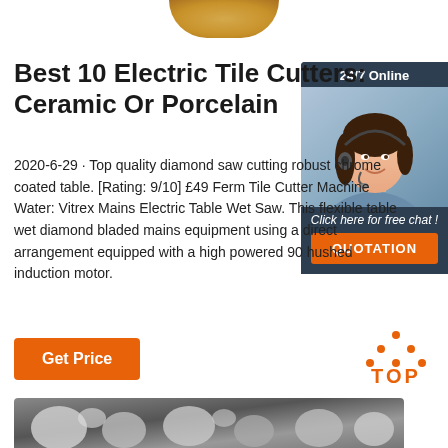[Figure (photo): Partial gold/bronze circle at top center of page]
Best 10 Electric Tile Cutters: Ceramic Or Porcelain
2020-6-29 · Top quality diamond saw cutting robust chrome coated table. [Rating: 9/10] £49 Ferm Tile Cutter Machine Water: Vitrex Mains Electric Table Wet Saw. This flexible table wet diamond bladed mains equipment using a direct arrangement equipped with a high powered 90 hushed induction motor.
[Figure (photo): Chat widget with agent photo, 24/7 Online banner, Click here for free chat text, and QUOTATION button]
Get Price
[Figure (logo): TOP icon with orange dots and text]
[Figure (photo): Bottom strip showing grayscale close-up of ceramic/mineral particles]